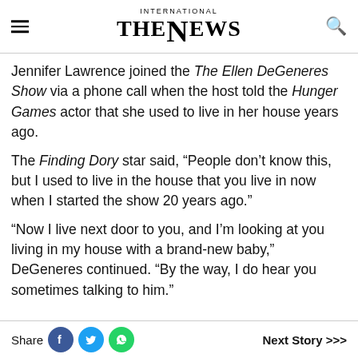INTERNATIONAL THE NEWS
Jennifer Lawrence joined the The Ellen DeGeneres Show via a phone call when the host told the Hunger Games actor that she used to live in her house years ago.
The Finding Dory star said, “People don’t know this, but I used to live in the house that you live in now when I started the show 20 years ago.”
“Now I live next door to you, and I’m looking at you living in my house with a brand-new baby,” DeGeneres continued. “By the way, I do hear you sometimes talking to him.”
Share   Next Story >>>